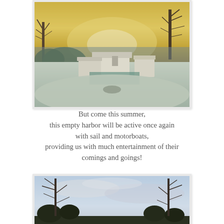[Figure (photo): Winter harbor scene with snow-covered buildings, bare trees, and a golden-yellow sky at dusk or dawn. Houses with white snow-covered roofs are visible in the middle ground, surrounded by snowy landscape and water in the background.]
But come this summer, this empty harbor will be active once again with sail and motorboats, providing us with much entertainment of their comings and goings!
[Figure (photo): Winter outdoor scene with bare trees framing a pale blue sky with light clouds, and a dark treeline visible along the horizon.]